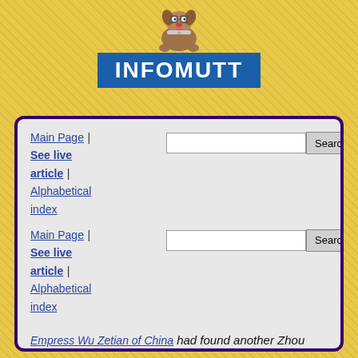[Figure (logo): Infomutt logo with cartoon dog mascot above a blue banner reading INFOMUTT]
Main Page | See live article | Alphabetical index (with search box)
Main Page | See live article | Alphabetical index (with search box)
Empress Wu Zetian of China had found another Zhou Dynasty in 690 AD, which lasted during her reign. However, it is traditionally considered an interruption of the Tang Dynasty.